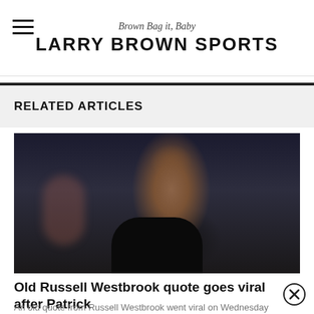Brown Bag it, Baby — LARRY BROWN SPORTS
RELATED ARTICLES
[Figure (photo): Basketball player Russell Westbrook in a black sleeveless jersey, looking up, against a blurred arena background]
Old Russell Westbrook quote goes viral after Patrick Beverley trade
An old quote from Russell Westbrook went viral on Wednesday